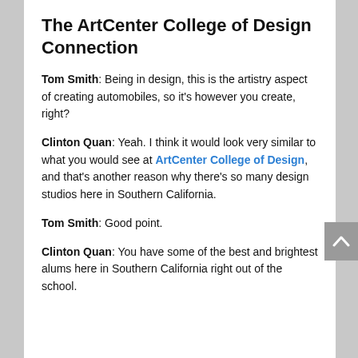The ArtCenter College of Design Connection
Tom Smith: Being in design, this is the artistry aspect of creating automobiles, so it's however you create, right?
Clinton Quan: Yeah. I think it would look very similar to what you would see at ArtCenter College of Design, and that's another reason why there's so many design studios here in Southern California.
Tom Smith: Good point.
Clinton Quan: You have some of the best and brightest alums here in Southern California right out of the school.